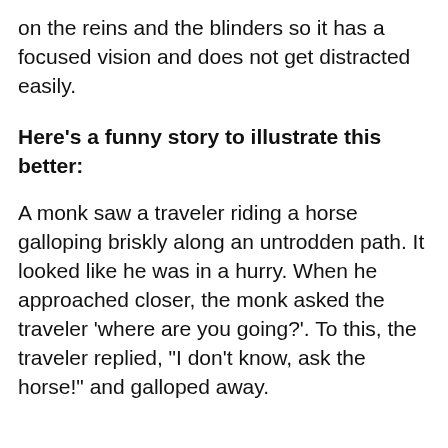on the reins and the blinders so it has a focused vision and does not get distracted easily.
Here’s a funny story to illustrate this better:
A monk saw a traveler riding a horse galloping briskly along an untrodden path. It looked like he was in a hurry. When he approached closer, the monk asked the traveler ‘where are you going?’. To this, the traveler replied, “I don’t know, ask the horse!” and galloped away.